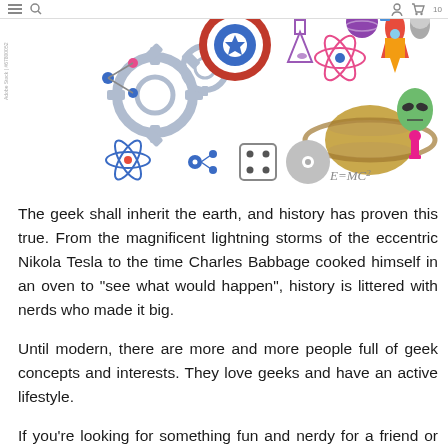navigation bar with menu, search, cart icons
[Figure (illustration): Colorful geek/science themed cartoon icons including Captain America shield, gears, atom, dice, planet Saturn, alien, rocket, chess pieces, CD, molecule, and E=MC2 equation. Adobe Stock watermark visible on left side.]
The geek shall inherit the earth, and history has proven this true. From the magnificent lightning storms of the eccentric Nikola Tesla to the time Charles Babbage cooked himself in an oven to "see what would happen", history is littered with nerds who made it big.
Until modern, there are more and more people full of geek concepts and interests. They love geeks and have an active lifestyle.
If you're looking for something fun and nerdy for a friend or loved one, or you're looking for a celebratory gift for collections, geeks, electric-